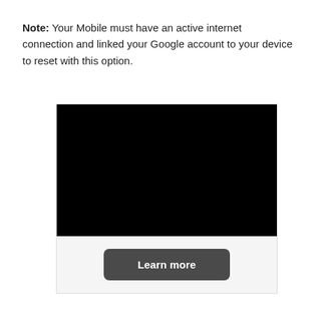Note: Your Mobile must have an active internet connection and linked your Google account to your device to reset with this option.
[Figure (screenshot): A black video player area with a 'Learn more' button below it on a light gray background.]